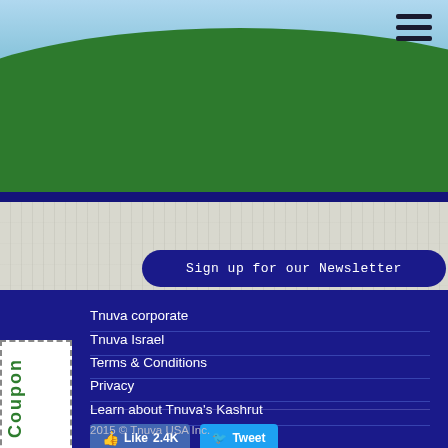[Figure (illustration): Website header with sky blue gradient background and green hill silhouette. Hamburger menu icon (three horizontal lines) in top right corner.]
Sign up for our Newsletter
Tnuva corporate
Tnuva Israel
Terms & Conditions
Privacy
Learn about Tnuva's Kashrut
[Figure (illustration): Facebook Like button showing '2.4K' likes and Twitter Tweet button]
2015 © Tnuva USA Inc.